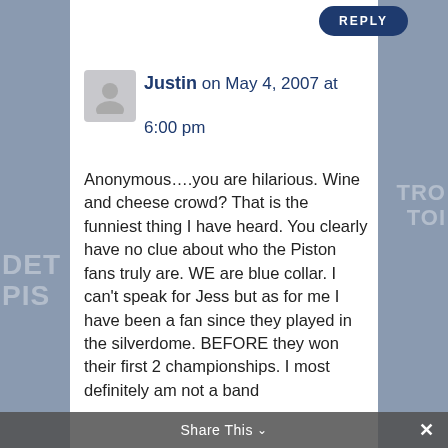REPLY
Justin on May 4, 2007 at 6:00 pm
Anonymous….you are hilarious. Wine and cheese crowd? That is the funniest thing I have heard. You clearly have no clue about who the Piston fans truly are. WE are blue collar. I can't speak for Jess but as for me I have been a fan since they played in the silverdome. BEFORE they won their first 2 championships. I most definitely am not a band
Share This